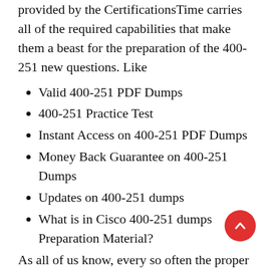provided by the CertificationsTime carries all of the required capabilities that make them a beast for the preparation of the 400-251 new questions. Like
Valid 400-251 PDF Dumps
400-251 Practice Test
Instant Access on 400-251 PDF Dumps
Money Back Guarantee on 400-251 Dumps
Updates on 400-251 dumps
What is in Cisco 400-251 dumps Preparation Material?
As all of us know, every so often the proper choice can keep away from the waste of time, getting two times the end result with 1/2 of the effort. Especially for Cisco 400-251 dumps preparation materials, only via way of m of finding the proper ones are you able to lessen the stress